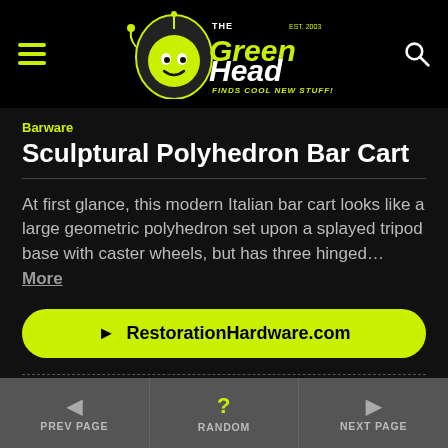The Green Head - Finds Cool New Stuff!
Barware
Sculptural Polyhedron Bar Cart
At first glance, this modern Italian bar cart looks like a large geometric polyhedron set upon a splayed tripod base with caster wheels, but has three hinged... More
RestorationHardware.com
[Figure (screenshot): White content/ad box placeholder]
PREV PAGE | RANDOM | NEXT PAGE